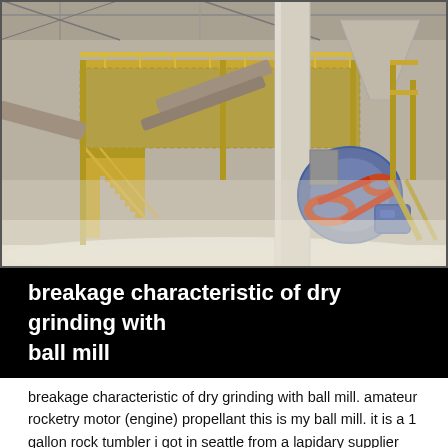[Figure (photo): Industrial grinding/milling facility interior showing large yellow metal staircase structure, conveyor equipment, hoppers, and a dust collector fan with red/orange belt drive in a dusty warehouse environment.]
breakage characteristic of dry grinding with ball mill
breakage characteristic of dry grinding with ball mill. amateur rocketry motor (engine) propellant this is my ball mill. it is a 1 gallon rock tumbler i got in seattle from a lapidary supplier about 30 years ago. the motor is out of a